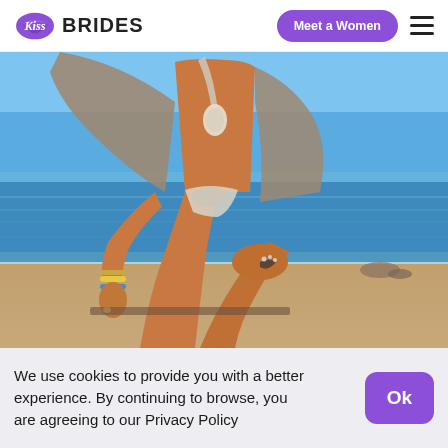Kiss Brides | Meet a Women
[Figure (photo): Woman in bikini and open cover-up kneeling on beach sand near water, wearing bracelets and jewelry]
We use cookies to provide you with a better experience. By continuing to browse, you are agreeing to our Privacy Policy